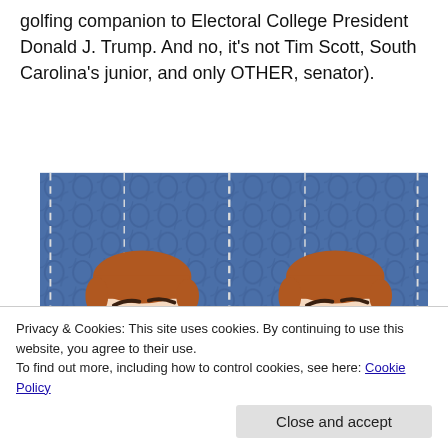golfing companion to Electoral College President Donald J. Trump. And no, it's not Tim Scott, South Carolina's junior, and only OTHER, senator).
[Figure (illustration): A two-panel meme showing an animated cartoon man with reddish-brown hair wearing a yellow and black shirt. In the left panel he holds his cheek with one hand in a thoughtful pose; in the right panel he covers his mouth with his hand in a surprised or stifling-laughter pose. The background is a blue decorative pattern.]
Privacy & Cookies: This site uses cookies. By continuing to use this website, you agree to their use.
To find out more, including how to control cookies, see here: Cookie Policy
Close and accept